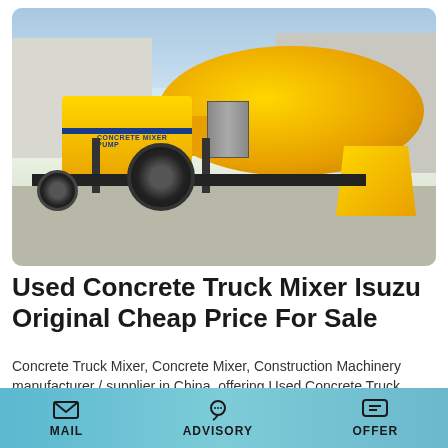[Figure (photo): Yellow concrete mixer pump machine on a trailer with large black wheels, parked in an industrial yard with buildings in the background. Text on machine reads CONCRETE MIXER PUMP.]
Used Concrete Truck Mixer Isuzu Original Cheap Price For Sale
Concrete Truck Mixer, Concrete Mixer, Construction Machinery manufacturer / supplier in China, offering Used Concrete Truck Mixer Isuzu Original Cheap Price for Sale,
MAIL   ADVISORY   OFFER